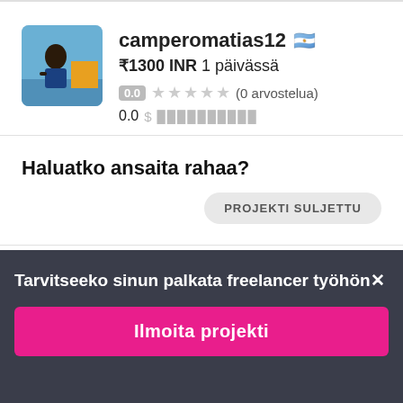[Figure (photo): Profile photo of user camperomatias12, a person in outdoor/travel setting]
camperomatias12 🇦🇷
₹1300 INR 1 päivässä
0.0 ★★★★★ (0 arvostelua)
0.0 $ ██████████
Haluatko ansaita rahaa?
PROJEKTI SULJETTU
Tarvitseeko sinun palkata freelancer työhön✕
Ilmoita projekti